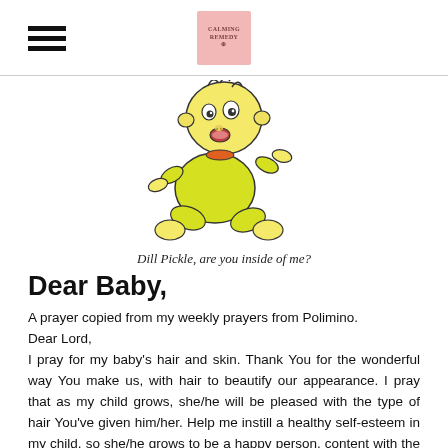[hamburger menu icon] [logo: cursive blog logo]
[Figure (illustration): Cartoon baby character (Dill Pickle from Rugrats) in a yellow onesie, crawling, with wide eyes and open mouth.]
Dill Pickle, are you inside of me?
Dear Baby,
A prayer copied from my weekly prayers from Polimino.
Dear Lord,
I pray for my baby's hair and skin. Thank You for the wonderful way You make us, with hair to beautify our appearance. I pray that as my child grows, she/he will be pleased with the type of hair You've given him/her. Help me instill a healthy self-esteem in my child, so she/he grows to be a happy person, content with the way he/she looks but not vain or narcissistic.
I pray for my baby's skin, that it will be healthy and perform the function You've created it to do. Thank You for giving us beauty, combined with